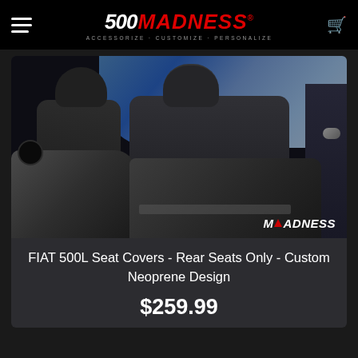500MADNESS - ACCESSORIZE · CUSTOMIZE · PERSONALIZE
[Figure (photo): Interior photo of FIAT 500L rear seats showing custom neoprene seat covers in black and gray. MADNESS watermark logo visible in lower right corner.]
FIAT 500L Seat Covers - Rear Seats Only - Custom Neoprene Design
$259.99